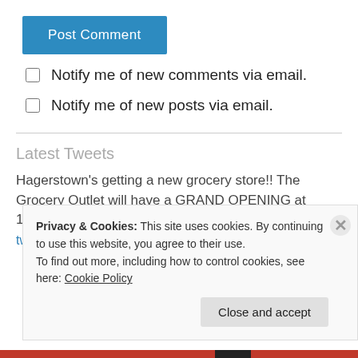Post Comment
Notify me of new comments via email.
Notify me of new posts via email.
Latest Tweets
Hagerstown's getting a new grocery store!! The Grocery Outlet will have a GRAND OPENING at 10:30am on June 16th at...
twitter.com/i/web/status/1… 2 months ago
Privacy & Cookies: This site uses cookies. By continuing to use this website, you agree to their use.
To find out more, including how to control cookies, see here: Cookie Policy
Close and accept